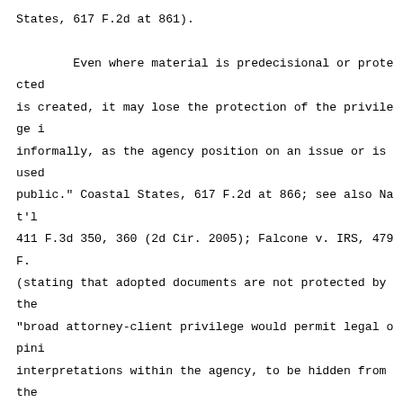States, 617 F.2d at 861).

        Even where material is predecisional or protected is created, it may lose the protection of the privilege i informally, as the agency position on an issue or is used public." Coastal States, 617 F.2d at 866; see also Nat'l 411 F.3d 350, 360 (2d Cir. 2005); Falcone v. IRS, 479 F. (stating that adopted documents are not protected by the "broad attorney-client privilege would permit legal opini interpretations within the agency, to be hidden from the purpose of the privilege is not to protect communications interpretations adopted by the agency."). Thus, "an agenc body of `secret law,' used by it in the discharge of its the public, but hidden behind a veil of privilege, becaus `binding' or `final.'" Coastal States, 617 F.2d at 867.